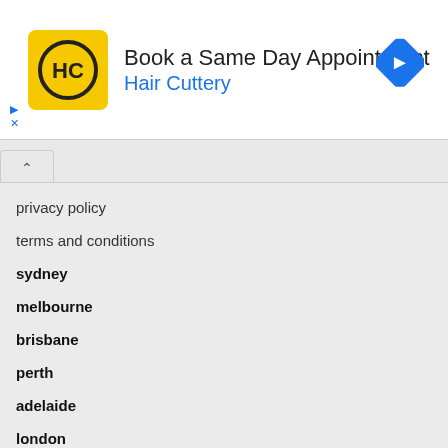[Figure (advertisement): Hair Cuttery advertisement banner: yellow HC logo on left, 'Book a Same Day Appointment' title, 'Hair Cuttery' brand in blue, blue navigation diamond icon on right, ad indicator arrows at bottom-left]
privacy policy
terms and conditions
sydney
melbourne
brisbane
perth
adelaide
london
Copyright © 2019 On Topic Media PTY LTD. All Rights Reserved. ABN: 18113479226